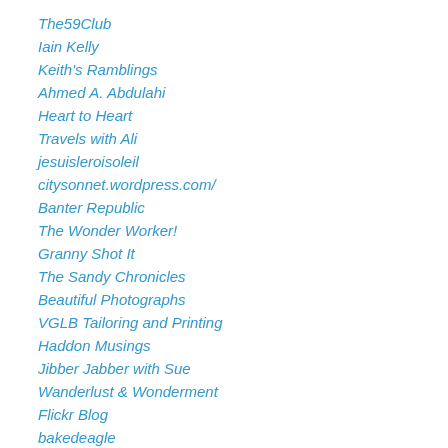The59Club
Iain Kelly
Keith's Ramblings
Ahmed A. Abdulahi
Heart to Heart
Travels with Ali
jesuisleroisoleil
citysonnet.wordpress.com/
Banter Republic
The Wonder Worker!
Granny Shot It
The Sandy Chronicles
Beautiful Photographs
VGLB Tailoring and Printing
Haddon Musings
Jibber Jabber with Sue
Wanderlust & Wonderment
Flickr Blog
bakedeagle
The Diary of a Country Bumpkin